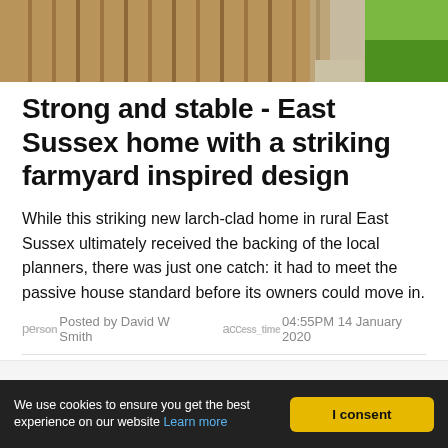[Figure (photo): Top portion of a photo showing wooden fence/cladding on the left and green grass on the right, with a paved path between them.]
Strong and stable - East Sussex home with a striking farmyard inspired design
While this striking new larch-clad home in rural East Sussex ultimately received the backing of the local planners, there was just one catch: it had to meet the passive house standard before its owners could move in.
Posted by David W Smith   04:55PM 14 January 2020
We use cookies to ensure you get the best experience on our website Learn more
I consent